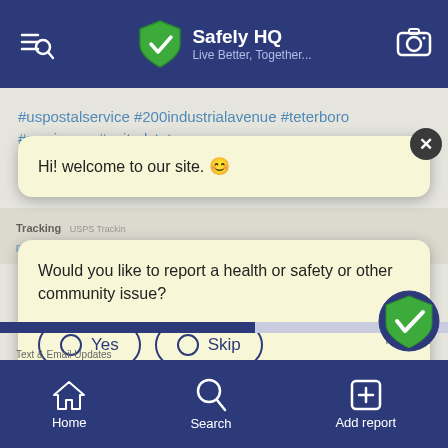Safely HQ — Live Better, Together...
#uspostalservice #200industrialavenue #teterboro #newjersey #unitedstates
Hi! welcome to our site. 😊
Would you like to report a health or safety or other community issue?
Yes
Skip
Home   Search   Add report